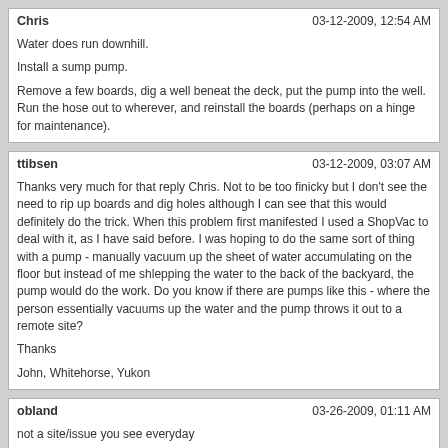Chris | 03-12-2009, 12:54 AM
Water does run downhill.
Install a sump pump.
Remove a few boards, dig a well beneat the deck, put the pump into the well. Run the hose out to wherever, and reinstall the boards (perhaps on a hinge for maintenance).
ttibsen | 03-12-2009, 03:07 AM
Thanks very much for that reply Chris. Not to be too finicky but I don't see the need to rip up boards and dig holes although I can see that this would definitely do the trick. When this problem first manifested I used a ShopVac to deal with it, as I have said before. I was hoping to do the same sort of thing with a pump - manually vacuum up the sheet of water accumulating on the floor but instead of me shlepping the water to the back of the backyard, the pump would do the work. Do you know if there are pumps like this - where the person essentially vacuums up the water and the pump throws it out to a remote site?
Thanks
John, Whitehorse, Yukon
obland | 03-26-2009, 01:11 AM
not a site/issue you see everyday
Powered by vBulletin® Version 4.2.0 Copyright © 2022 vBulletin Solutions, Inc. All rights reserved.